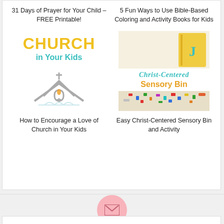31 Days of Prayer for Your Child – FREE Printable!
5 Fun Ways to Use Bible-Based Coloring and Activity Books for Kids
[Figure (illustration): Church illustration with 'CHURCH in Your Kids' text in yellow and teal, with a simple gray church building graphic below]
[Figure (photo): Christ-Centered Sensory Bin image with yellow background, teal cursive text 'Christ-Centered' and gold 'Sensory Bin', plus photo of colorful sensory bin with rice and letters]
How to Encourage a Love of Church in Your Kids
Easy Christ-Centered Sensory Bin and Activity